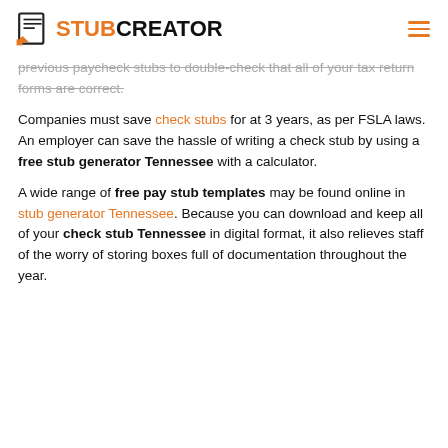STUBCREATOR
previous paycheck stubs to double-check that all of your tax return forms are correct.
Companies must save check stubs for at 3 years, as per FSLA laws. An employer can save the hassle of writing a check stub by using a free stub generator Tennessee with a calculator.
A wide range of free pay stub templates may be found online in stub generator Tennessee. Because you can download and keep all of your check stub Tennessee in digital format, it also relieves staff of the worry of storing boxes full of documentation throughout the year.